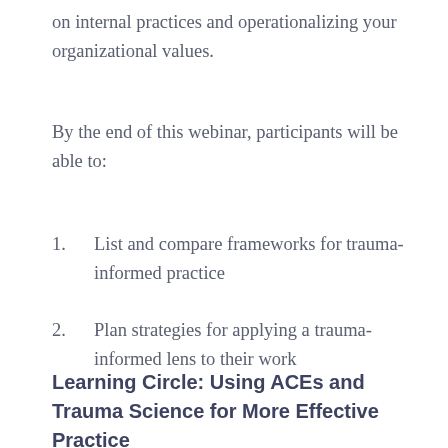on internal practices and operationalizing your organizational values.
By the end of this webinar, participants will be able to:
1. List and compare frameworks for trauma-informed practice
2. Plan strategies for applying a trauma-informed lens to their work
Learning Circle: Using ACEs and Trauma Science for More Effective Practice
(cut off at bottom)